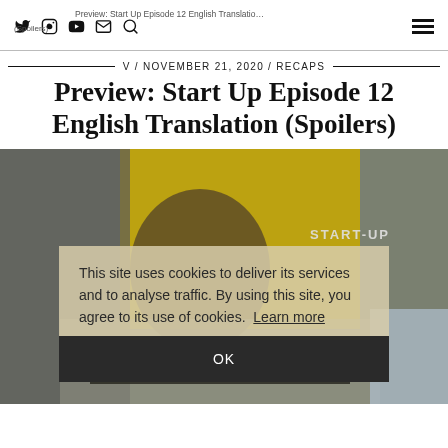Preview: Start Up Episode 12 English Translation (Spoilers)
V / NOVEMBER 21, 2020 / RECAPS
Preview: Start Up Episode 12 English Translation (Spoilers)
[Figure (photo): A young man resting his head on a laptop in front of a yellow background with 'START-UP' text. A cookie consent overlay reads: 'This site uses cookies to deliver its services and to analyse traffic. By using this site, you agree to its use of cookies. Learn more' with an OK button.]
This site uses cookies to deliver its services and to analyse traffic. By using this site, you agree to its use of cookies.  Learn more
OK